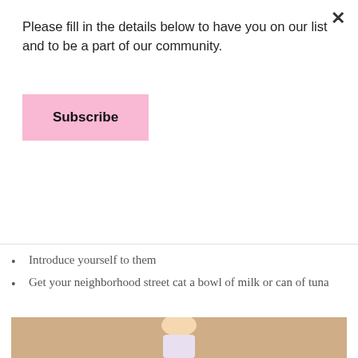Please fill in the details below to have you on our list and to be a part of our community.
Subscribe
Give a goodie pack for your neighbors
Bake them a batch of cupcakes
Bake a homemade lasagna
Give them a creative diy gift
Introduce yourself to them
Get your neighborhood street cat a bowl of milk or can of tuna
[Figure (photo): Young blonde girl smiling, wearing a colorful dress, photographed against a beige background]